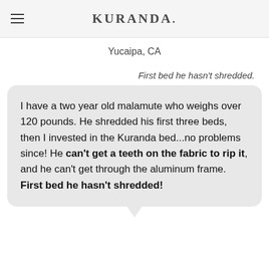KURANDA.
Yucaipa, CA
First bed he hasn't shredded.
I have a two year old malamute who weighs over 120 pounds. He shredded his first three beds, then I invested in the Kuranda bed...no problems since! He can't get a teeth on the fabric to rip it, and he can't get through the aluminum frame. First bed he hasn't shredded!